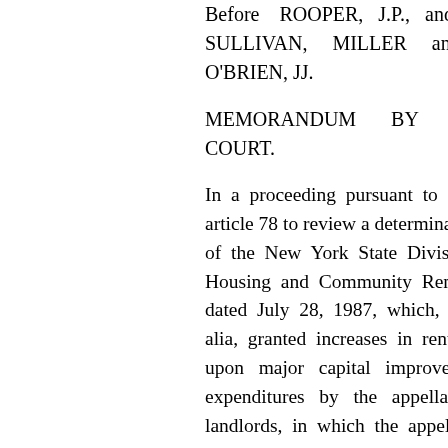Before ROOPER, J.P., and SULLIVAN, MILLER and O'BRIEN, JJ.
MEMORANDUM BY THE COURT.
In a proceeding pursuant to CPLR article 78 to review a determination of the New York State Division of Housing and Community Renewal dated July 28, 1987, which, inter alia, granted increases in rent based upon major capital improvement expenditures by the appellant landlords, in which the appellant landlords cross-petitioned to prohibit